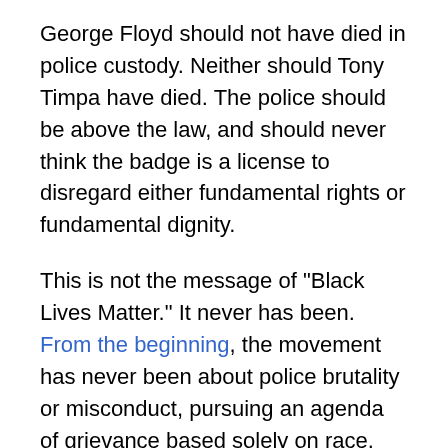George Floyd should not have died in police custody. Neither should Tony Timpa have died. The police should be above the law, and should never think the badge is a license to disregard either fundamental rights or fundamental dignity.
This is not the message of "Black Lives Matter." It never has been. From the beginning, the movement has never been about police brutality or misconduct, pursuing an agenda of grievance based solely on race.
Black America is in a state of protest. The 21st-century civil rights movement, exemplified by the action taken by Garza and those like her, is democratic in its aims and agile in its responses. It is fuelled by grief and fury, by righteous rage against injustice and institutionalised racism and by frustration at the endemic brutality of the state.